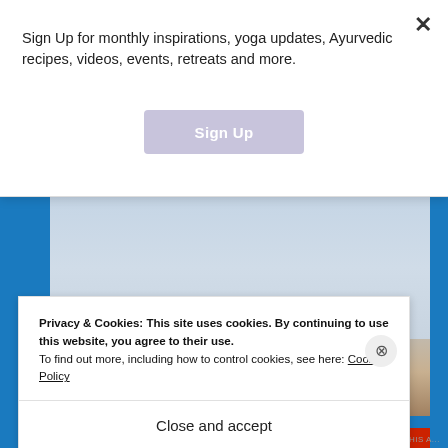Sign Up for monthly inspirations, yoga updates, Ayurvedic recipes, videos, events, retreats and more.
[Figure (illustration): Sign Up button (rounded rectangle, lavender/grey-purple color) with white bold text 'Sign Up']
[Figure (photo): Photo of a person (appears to be meditating or in a yoga pose) at water's edge, with blue-grey water background. Blue sidebars flank the image. Red banner at bottom.]
Privacy & Cookies: This site uses cookies. By continuing to use this website, you agree to their use.
To find out more, including how to control cookies, see here: Cookie Policy
Close and accept